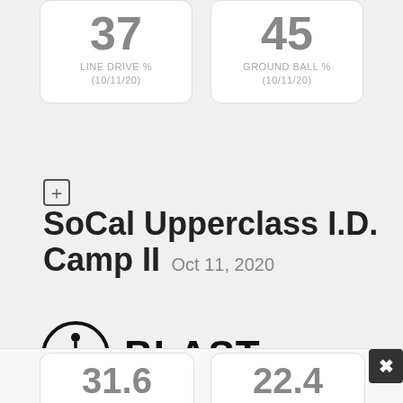[Figure (infographic): Stat card showing '37' with label 'LINE DRIVE %' and date '(10/11/20)']
[Figure (infographic): Stat card showing '45' with label 'GROUND BALL %' and date '(10/11/20)']
SoCal Upperclass I.D. Camp II Oct 11, 2020
[Figure (logo): Blast Motion logo: circle with stick figure, BLAST. wordmark]
BLAST - HITTING
[Figure (infographic): Partial stat cards visible at bottom, numbers partially shown]